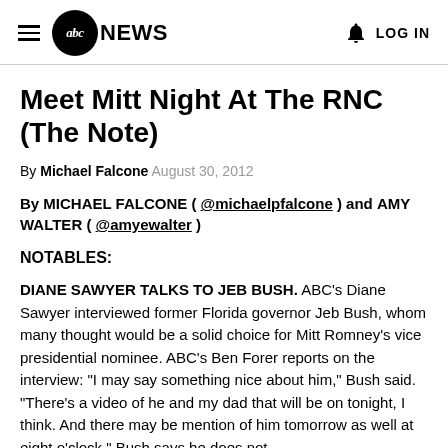ABC News — LOG IN
Meet Mitt Night At The RNC (The Note)
By Michael Falcone   August 30, 2012
By MICHAEL FALCONE ( @michaelpfalcone ) and AMY WALTER ( @amyewalter )
NOTABLES:
DIANE SAWYER TALKS TO JEB BUSH. ABC's Diane Sawyer interviewed former Florida governor Jeb Bush, whom many thought would be a solid choice for Mitt Romney's vice presidential nominee. ABC's Ben Forer reports on the interview: "I may say something nice about him," Bush said. "There's a video of he and my dad that will be on tonight, I think. And there may be mention of him tomorrow as well at eight o'clock." Bush says he does not